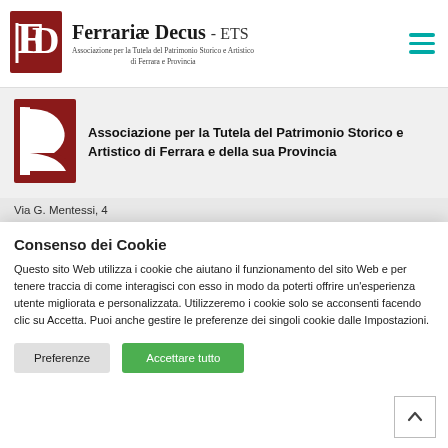Ferrariae Decus - ETS | Associazione per la Tutela del Patrimonio Storico e Artistico di Ferrara e Provincia
[Figure (logo): Ferrariæ Decus ETS logo with red stylized letters FD and organization name]
Associazione per la Tutela del Patrimonio Storico e Artistico di Ferrara e della sua Provincia
Via G. Mentessi, 4
Consenso dei Cookie
Questo sito Web utilizza i cookie che aiutano il funzionamento del sito Web e per tenere traccia di come interagisci con esso in modo da poterti offrire un'esperienza utente migliorata e personalizzata. Utilizzeremo i cookie solo se acconsenti facendo clic su Accetta. Puoi anche gestire le preferenze dei singoli cookie dalle Impostazioni.
Preferenze | Accettare tutto